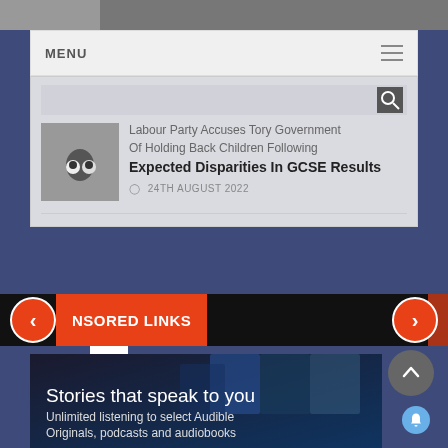[Figure (screenshot): Top partially visible image strip (newspaper/article website header)]
MENU
[Figure (screenshot): Article card with search bar and news headline about Labour Party accusing Tory Government Of Holding Back Children Following Expected Disparities In GCSE Results, dated 24TH AUGUST 2022]
Labour Party Accuses Tory Government Of Holding Back Children Following Expected Disparities In GCSE Results
24TH AUGUST 2022
NSORED LINKS
[Figure (screenshot): Audible advertisement showing book covers and text 'Stories that speak to you. Unlimited listening to select Audible Originals, podcasts and audiobooks']